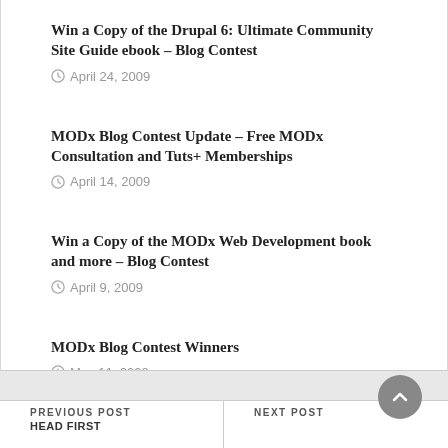Win a Copy of the Drupal 6: Ultimate Community Site Guide ebook – Blog Contest
April 24, 2009
MODx Blog Contest Update – Free MODx Consultation and Tuts+ Memberships
April 14, 2009
Win a Copy of the MODx Web Development book and more – Blog Contest
April 9, 2009
MODx Blog Contest Winners
May 11, 2009
PREVIOUS POST HEAD FIRST | NEXT POST